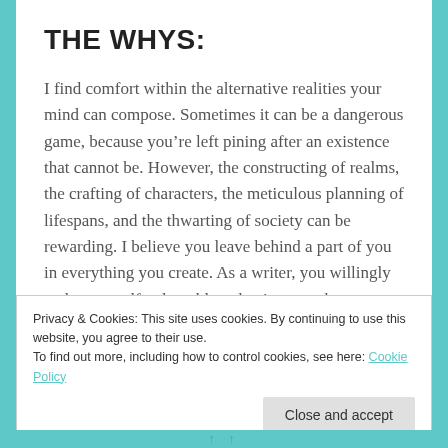THE WHYS:
I find comfort within the alternative realities your mind can compose. Sometimes it can be a dangerous game, because you’re left pining after an existence that cannot be. However, the constructing of realms, the crafting of characters, the meticulous planning of lifespans, and the thwarting of society can be rewarding. I believe you leave behind a part of you in everything you create. As a writer, you willingly make yourself vulnerable to having your hearts broken by fictional tropes, but also sell your soul to the judgement and interpretation of your
Privacy & Cookies: This site uses cookies. By continuing to use this website, you agree to their use.
To find out more, including how to control cookies, see here: Cookie Policy